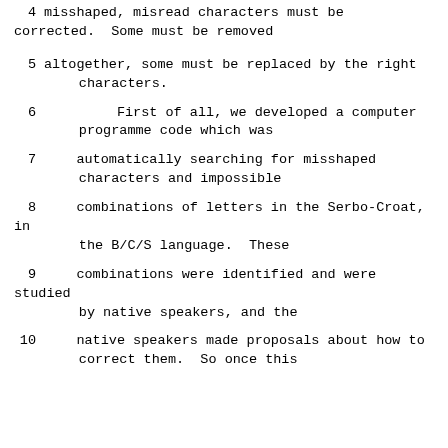4   misshaped, misread characters must be corrected.  Some must be removed
5      altogether, some must be replaced by the right characters.
6             First of all, we developed a computer programme code which was
7      automatically searching for misshaped characters and impossible
8      combinations of letters in the Serbo-Croat, in the B/C/S language.  These
9      combinations were identified and were studied by native speakers, and the
10      native speakers made proposals about how to correct them.  So once this